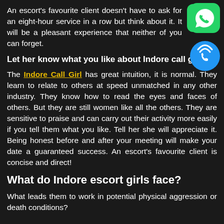An escort's favourite client doesn't have to ask for an eight-hour service in a row but think about it. It will be a pleasant experience that neither of you can forget.
Let her know what you like about Indore call girl?
The Indore Call Girl has great intuition, it is normal. They learn to relate to others at speed unmatched in any other industry. They know how to read the eyes and faces of others. But they are still women like all the others. They are sensitive to praise and can carry out their activity more easily if you tell them what you like. Tell her she will appreciate it. Being honest before and after your meeting will make your date a guaranteed success. An escort's favourite client is concise and direct!
What do Indore escort girls face?
What leads them to work in potential physical aggression or death conditions?